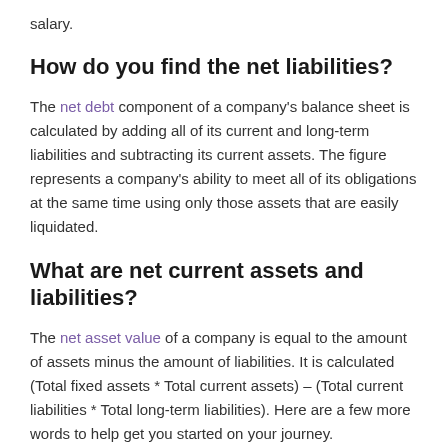salary.
How do you find the net liabilities?
The net debt component of a company’s balance sheet is calculated by adding all of its current and long-term liabilities and subtracting its current assets. The figure represents a company’s ability to meet all of its obligations at the same time using only those assets that are easily liquidated.
What are net current assets and liabilities?
The net asset value of a company is equal to the amount of assets minus the amount of liabilities. It is calculated (Total fixed assets * Total current assets) – (Total current liabilities * Total long-term liabilities). Here are a few more words to help get you started on your journey.